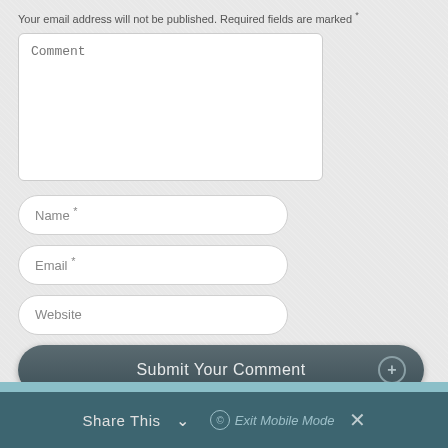Your email address will not be published. Required fields are marked *
[Figure (screenshot): Comment textarea input field with placeholder text 'Comment']
[Figure (screenshot): Name text input field with placeholder 'Name *']
[Figure (screenshot): Email text input field with placeholder 'Email *']
[Figure (screenshot): Website text input field with placeholder 'Website']
[Figure (screenshot): Submit Your Comment button with + icon]
Share This  ⌄    © Exit Mobile Mode  ×